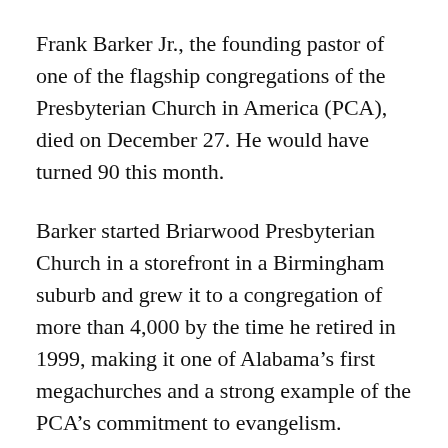Frank Barker Jr., the founding pastor of one of the flagship congregations of the Presbyterian Church in America (PCA), died on December 27. He would have turned 90 this month.
Barker started Briarwood Presbyterian Church in a storefront in a Birmingham suburb and grew it to a congregation of more than 4,000 by the time he retired in 1999, making it one of Alabama's first megachurches and a strong example of the PCA's commitment to evangelism.
“He both modeled and motivated the PCA to be passionately committed to the Great Commission, the basic work of evangelism, and discipleship,” Harry Reeder, who succeeded Barker at Briarwood,